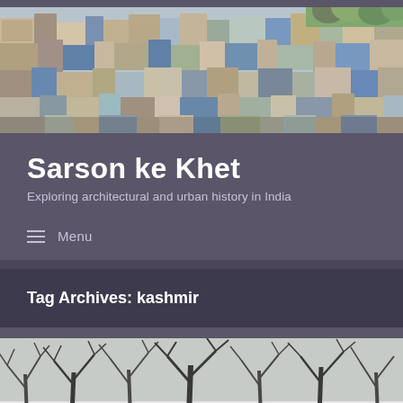[Figure (photo): Aerial view of a densely packed urban area in India with flat rooftops, showing various buildings in browns, whites, and blues]
Sarson ke Khet
Exploring architectural and urban history in India
≡  Menu
Tag Archives: kashmir
[Figure (photo): Black and white photo of bare winter trees with snow, partially visible at bottom of page]